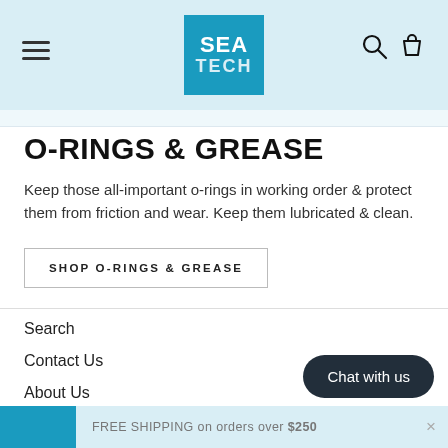[Figure (logo): Sea Tech logo: blue square with SEA TECH text in white]
O-RINGS & GREASE
Keep those all-important o-rings in working order & protect them from friction and wear. Keep them lubricated & clean.
SHOP O-RINGS & GREASE
Search
Contact Us
About Us
SIGN UP TO OUR NEWSLETTER
Chat with us
FREE SHIPPING on orders over $250